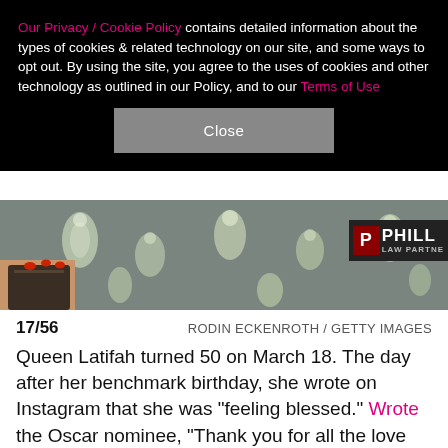Our Privacy / Cookie Policy contains detailed information about the types of cookies & related technology on our site, and some ways to opt out. By using the site, you agree to the uses of cookies and other technology as outlined in our Policy, and to our Terms of Use
Close
[Figure (photo): Photo showing a person holding a purse, wearing a floral/botanical print dress, with a Phillips Law Partners logo visible in the upper right corner.]
17/56    RODIN ECKENROTH / GETTY IMAGES
Queen Latifah turned 50 on March 18. The day after her benchmark birthday, she wrote on Instagram that she was "feeling blessed." Wrote the Oscar nominee, "Thank you for all the love and birthday wishes!! These are strange times and even though we can't see each other in person, I'm so grateful to have you all in my life."